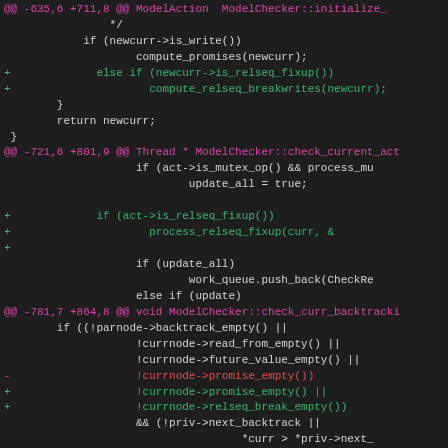[Figure (screenshot): Code diff view showing changes to ModelChecker C++ source file with magenta hunk headers, green addition lines, red deletion lines, and white context lines on dark background]